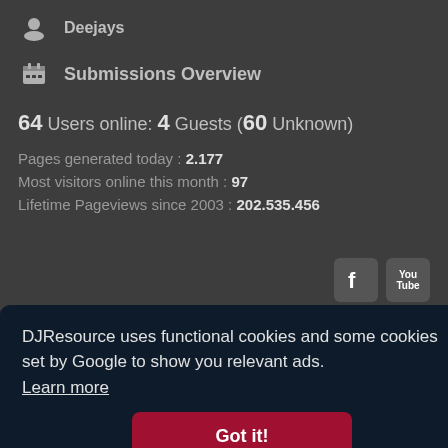Deejays
Submissions Overview
64 Users online: 4 Guests (60 Unknown)
Pages generated today : 2.177
Most visitors online this month : 97
Lifetime Pageviews since 2003 : 202.535.456
DJResource uses functional cookies and some cookies set by Google to show you relevant ads.
Learn more
Got it!
Privacy Policy
Terms of Use
2001 © 2022